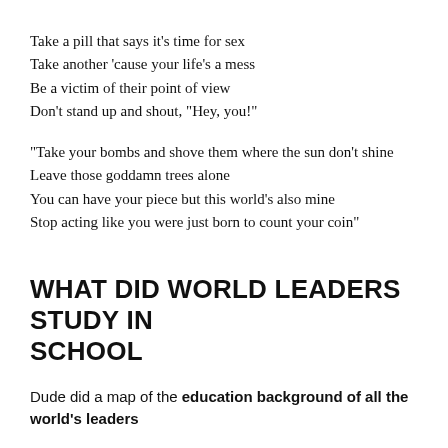Take a pill that says it's time for sex
Take another 'cause your life's a mess
Be a victim of their point of view
Don't stand up and shout, "Hey, you!"
“Take your bombs and shove them where the sun don't shine
Leave those goddamn trees alone
You can have your piece but this world's also mine
Stop acting like you were just born to count your coin”
WHAT DID WORLD LEADERS STUDY IN SCHOOL
Dude did a map of the education background of all the world's leaders